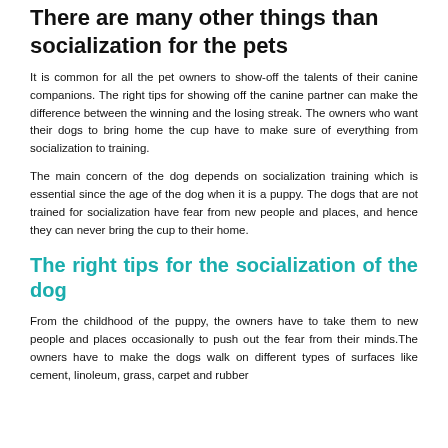There are many other things than socialization for the pets
It is common for all the pet owners to show-off the talents of their canine companions. The right tips for showing off the canine partner can make the difference between the winning and the losing streak. The owners who want their dogs to bring home the cup have to make sure of everything from socialization to training.
The main concern of the dog depends on socialization training which is essential since the age of the dog when it is a puppy. The dogs that are not trained for socialization have fear from new people and places, and hence they can never bring the cup to their home.
The right tips for the socialization of the dog
From the childhood of the puppy, the owners have to take them to new people and places occasionally to push out the fear from their minds.The owners have to make the dogs walk on different types of surfaces like cement, linoleum, grass, carpet and rubber